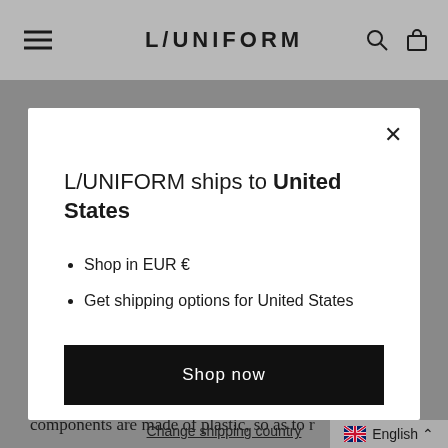L/UNIFORM
L/UNIFORM ships to United States
Shop in EUR €
Get shipping options for United States
Shop now
Change shipping country
allows you to hold your equipment. All the components are made of plastic, so as to r
English